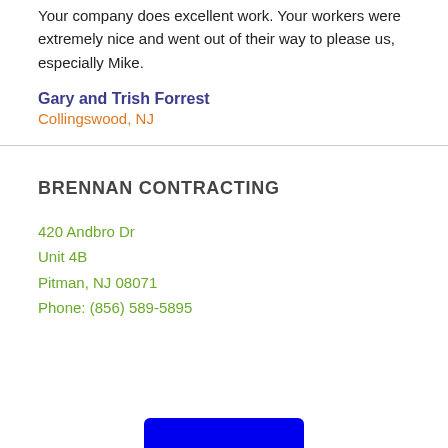Your company does excellent work. Your workers were extremely nice and went out of their way to please us, especially Mike.
Gary and Trish Forrest
Collingswood, NJ
BRENNAN CONTRACTING
420 Andbro Dr
Unit 4B
Pitman, NJ 08071
Phone: (856) 589-5895